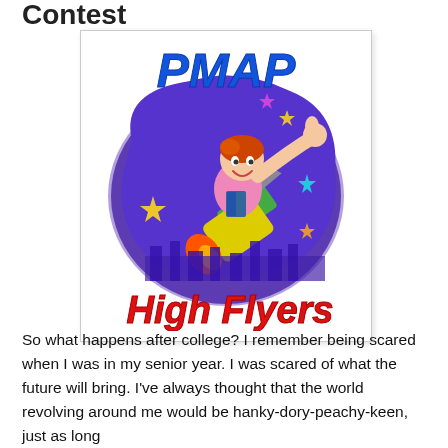Contest
[Figure (logo): PMAP High Flyers logo: a cartoon boy riding a rocket through a purple starry night sky, with 'PMAP' in bold blue italic letters at the top and 'High Flyers' in bold red italic letters at the bottom.]
So what happens after college? I remember being scared when I was in my senior year. I was scared of what the future will bring. I've always thought that the world revolving around me would be hanky-dory-peachy-keen, just as long